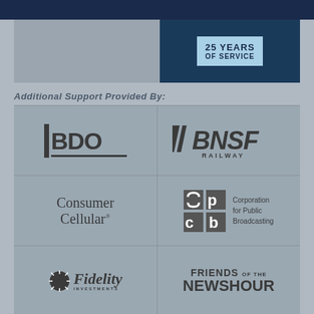[Figure (logo): Top dark navy banner with partial advertisement showing '25 YEARS OF SERVICE']
Additional Support Provided By:
[Figure (logo): BDO logo - vertical bar with BDO text and underline]
[Figure (logo): BNSF Railway logo in bold italic font]
[Figure (logo): Consumer Cellular logo in serif font]
[Figure (logo): cpb - Corporation for Public Broadcasting logo with square icon]
[Figure (logo): Fidelity Investments logo with sunburst icon]
[Figure (logo): Friends of the NewsHour logo in bold sans-serif]